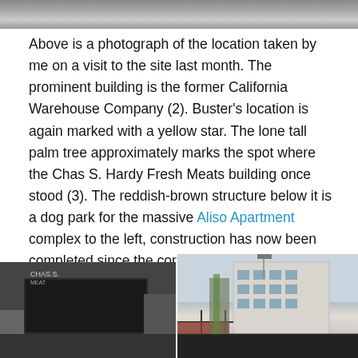[Figure (photo): Top portion of a photograph showing a street/aerial view of a location, cropped at the top of the page]
Above is a photograph of the location taken by me on a visit to the site last month. The prominent building is the former California Warehouse Company (2). Buster’s location is again marked with a yellow star. The lone tall palm tree approximately marks the spot where the Chas S. Hardy Fresh Meats building once stood (3). The reddish-brown structure below it is a dog park for the massive Aliso Apartment complex to the left, construction has now been completed since the corresponding Google Earth image above.
[Figure (photo): Black and white historical photograph showing a large dark freight/railroad car in front of a building with 'CHAS S.' text visible, with a person visible near the vehicle]
[Figure (photo): Color photograph showing a modern multi-story apartment building with a palm tree in front, iron fence in foreground, and a reddish-brown structure visible to the left]